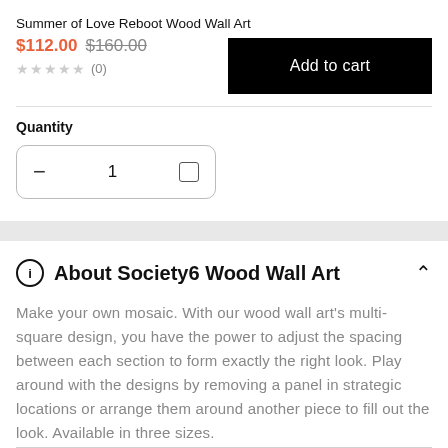Summer of Love Reboot Wood Wall Art
$112.00 $160.00
★★★★★ (0)
Add to cart
Quantity
1
About Society6 Wood Wall Art
Make your own mosaic. With our wood wall art's multi-square design, you have the power to adjust the spacing between each section to form exactly the right look. Play around with the designs by removing a panel in strategic locations or arrange them around another piece to fill out the look. Available in three sizes.